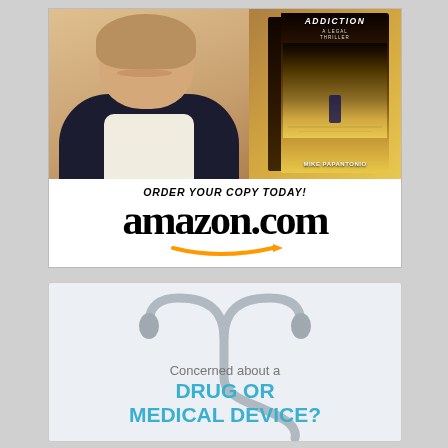[Figure (illustration): Advertisement showing a man's photo alongside a book titled 'Addiction - A Legal Thriller' by Mike Papantonio, with text 'ORDER YOUR COPY TODAY!' and 'amazon.com' logo with orange arrow.]
[Figure (illustration): Advertisement with a stethoscope graphic and text 'Concerned about a DRUG OR MEDICAL DEVICE?']